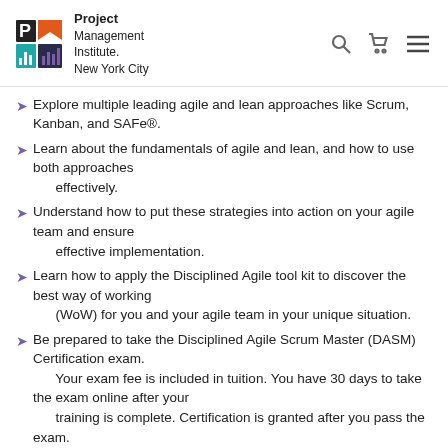Project Management Institute. New York City
Explore multiple leading agile and lean approaches like Scrum, Kanban, and SAFe®.
Learn about the fundamentals of agile and lean, and how to use both approaches effectively.
Understand how to put these strategies into action on your agile team and ensure effective implementation.
Learn how to apply the Disciplined Agile tool kit to discover the best way of working (WoW) for you and your agile team in your unique situation.
Be prepared to take the Disciplined Agile Scrum Master (DASM) Certification exam. Your exam fee is included in tuition. You have 30 days to take the exam online after your training is complete. Certification is granted after you pass the exam.